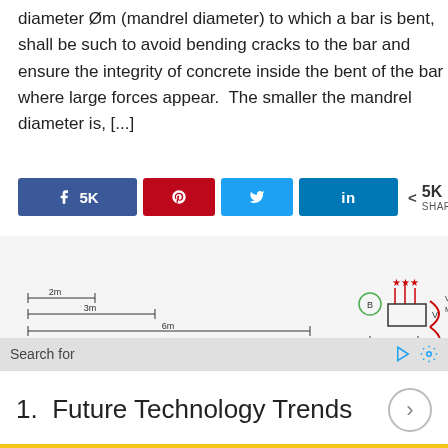diameter Øm (mandrel diameter) to which a bar is bent, shall be such to avoid bending cracks to the bar and ensure the integrity of concrete inside the bent of the bar where large forces appear.  The smaller the mandrel diameter is, [...]
[Figure (infographic): Social share buttons: Facebook 5K, Pinterest, Twitter, LinkedIn, and share count showing 5K SHARES]
[Figure (engineering-diagram): Structural engineering diagram showing beam with dimensions 2m, 3m, 6m, loads of 20 kN, 30 kN, and moment/shear calculations: V=30-10=20 kN, M=30x1-10x1x0.5=25 kNm with points B and C marked]
Search for
1.  Future Technology Trends